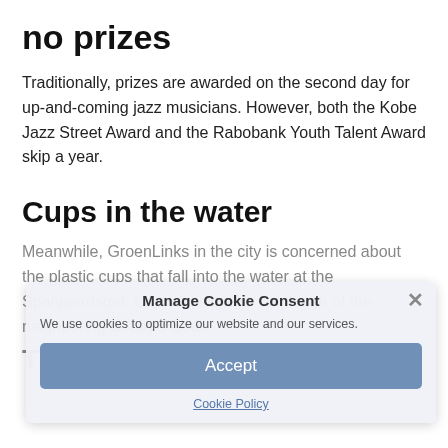no prizes
Traditionally, prizes are awarded on the second day for up-and-coming jazz musicians. However, both the Kobe Jazz Street Award and the Rabobank Youth Talent Award skip a year.
Cups in the water
Meanwhile, GroenLinks in the city is concerned about the plastic cups that fall into the water at the Spanjaardsgat. Unjustly, says an employee of the neighboring Bobby's Boat.
Tips of the day
Manage Cookie Consent
We use cookies to optimize our website and our services.
Accept
Cookie Policy